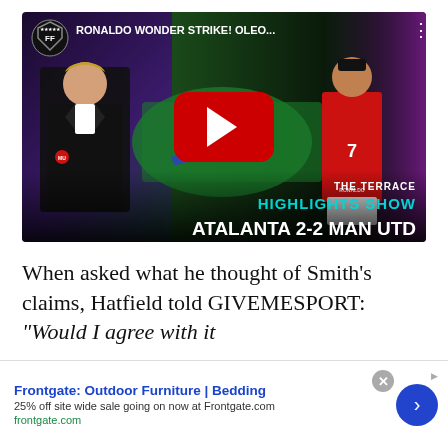[Figure (screenshot): YouTube video thumbnail showing 'RONALDO WONDER STRIKE! OLEO...' with The Terrace Highlights Show, Atalanta 2-2 Man Utd. Features a manager in black suit on the left and Ronaldo in red #7 jersey on the right with a YouTube play button in center.]
When asked what he thought of Smith’s claims, Hatfield told GIVEMESPORT: “Would I agree with it — either/or…
[Figure (screenshot): Advertisement banner: Frontgate: Outdoor Furniture | Bedding. 25% off site wide sale going on now at Frontgate.com. frontgate.com]